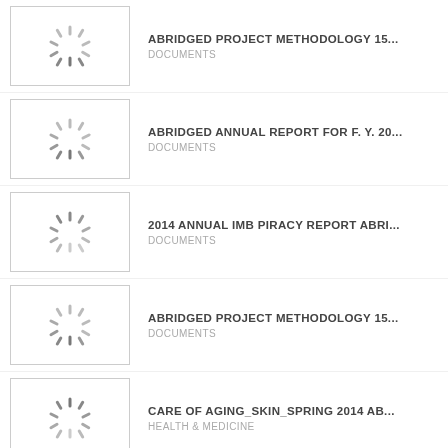[Figure (other): Loading spinner thumbnail]
ABRIDGED PROJECT METHODOLOGY 15...
DOCUMENTS
[Figure (other): Loading spinner thumbnail]
ABRIDGED ANNUAL REPORT FOR F. Y. 20...
DOCUMENTS
[Figure (other): Loading spinner thumbnail]
2014 ANNUAL IMB PIRACY REPORT ABRI...
DOCUMENTS
[Figure (other): Loading spinner thumbnail]
ABRIDGED PROJECT METHODOLOGY 15...
DOCUMENTS
[Figure (other): Loading spinner thumbnail]
CARE OF AGING_SKIN_SPRING 2014 AB...
HEALTH & MEDICINE